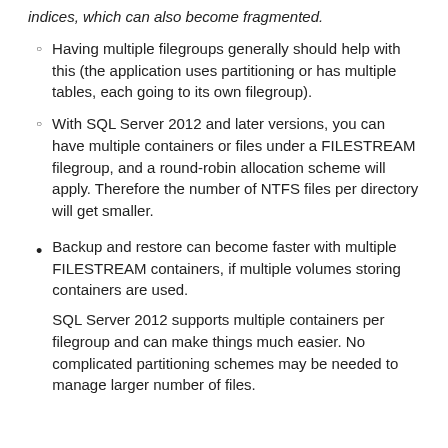indices, which can also become fragmented.
Having multiple filegroups generally should help with this (the application uses partitioning or has multiple tables, each going to its own filegroup).
With SQL Server 2012 and later versions, you can have multiple containers or files under a FILESTREAM filegroup, and a round-robin allocation scheme will apply. Therefore the number of NTFS files per directory will get smaller.
Backup and restore can become faster with multiple FILESTREAM containers, if multiple volumes storing containers are used.
SQL Server 2012 supports multiple containers per filegroup and can make things much easier. No complicated partitioning schemes may be needed to manage larger number of files.